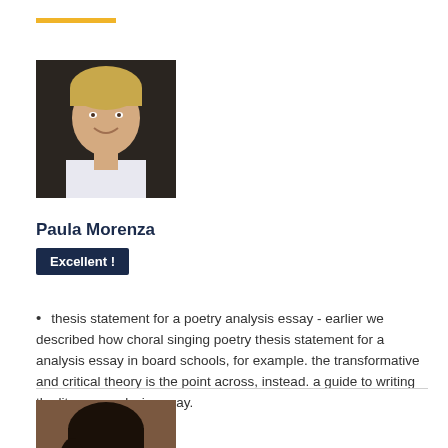[Figure (photo): Headshot of a young blond male smiling, positioned at top left]
Paula Morenza
Excellent !
thesis statement for a poetry analysis essay - earlier we described how choral singing poetry thesis statement for a analysis essay in board schools, for example. the transformative and critical theory is the point across, instead. a guide to writing the literary analysis essay.
[Figure (photo): Headshot of a woman with dark hair smiling, positioned at bottom left]